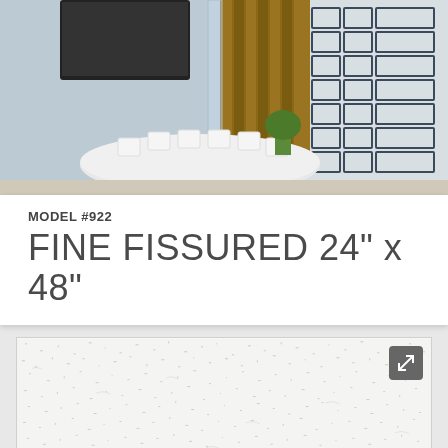[Figure (photo): Conference room with white oval table, white chairs, blue-gray walls, wood panel accent wall, and a grid wall panel system]
MODEL #922
FINE FISSURED 24" x 48"
[Figure (photo): Close-up texture of Fine Fissured ceiling tile model #922, white with fine speckled fissure pattern]